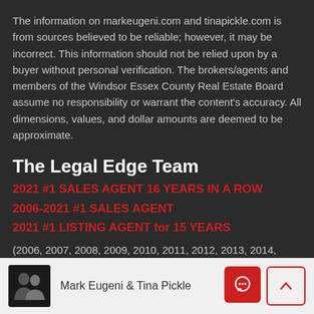The information on markeugeni.com and tinapickle.com is from sources believed to be reliable; however, it may be incorrect. This information should not be relied upon by a buyer without personal verification. The brokers/agents and members of the Windsor Essex County Real Estate Board assume no responsibility or warrant the content's accuracy. All dimensions, values, and dollar amounts are deemed to be approximate.
The Legal Edge Team
2021 #1 SALES AGENT 16 YEARS IN A ROW
2006-2021 #1 SALES AGENT
2021 #1 LISTING AGENT for 15 YEARS
(2006, 2007, 2008, 2009, 2010, 2011, 2012, 2013, 2014,
Mark Eugeni & Tina Pickle